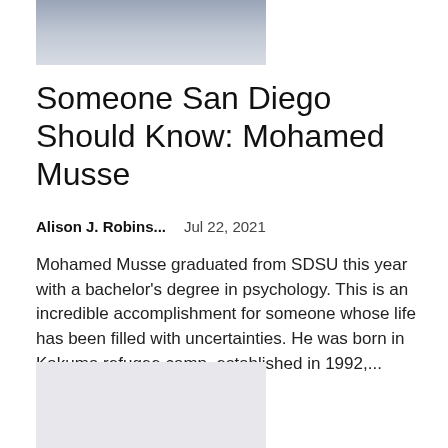[Figure (photo): Partial photo of a person wearing a white hoodie, cropped at the top of the page]
Someone San Diego Should Know: Mohamed Musse
Alison J. Robins...    Jul 22, 2021
Mohamed Musse graduated from SDSU this year with a bachelor's degree in psychology. This is an incredible accomplishment for someone whose life has been filled with uncertainties. He was born in Kakuma refugee camp, established in 1992,...
[Figure (photo): Light gray placeholder image at the bottom of the page]